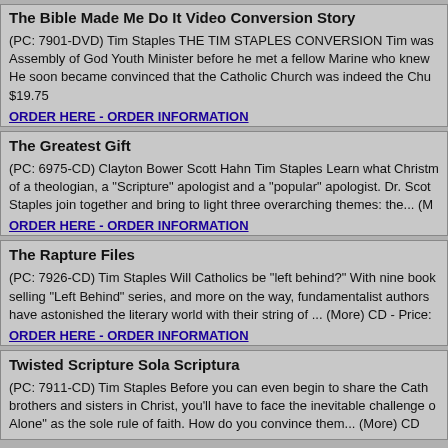The Bible Made Me Do It Video Conversion Story
(PC: 7901-DVD) Tim Staples THE TIM STAPLES CONVERSION Tim was Assembly of God Youth Minister before he met a fellow Marine who knew He soon became convinced that the Catholic Church was indeed the Chu $19.75
ORDER HERE - ORDER INFORMATION
The Greatest Gift
(PC: 6975-CD) Clayton Bower Scott Hahn Tim Staples Learn what Christm of a theologian, a "Scripture" apologist and a "popular" apologist. Dr. Scot Staples join together and bring to light three overarching themes: the... (M
ORDER HERE - ORDER INFORMATION
The Rapture Files
(PC: 7926-CD) Tim Staples Will Catholics be "left behind?" With nine book selling "Left Behind" series, and more on the way, fundamentalist authors have astonished the literary world with their string of ... (More) CD - Price:
ORDER HERE - ORDER INFORMATION
Twisted Scripture Sola Scriptura
(PC: 7911-CD) Tim Staples Before you can even begin to share the Cath brothers and sisters in Christ, you'll have to face the inevitable challenge o Alone" as the sole rule of faith. How do you convince them... (More) CD